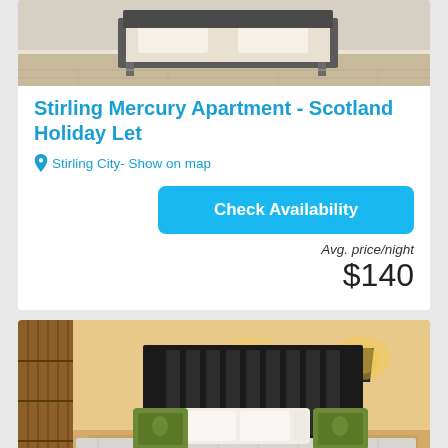[Figure (photo): Bedroom photo showing a bed with wooden headboard, light wood floors, and neutral decor — top portion of room listing card]
Stirling Mercury Apartment - Scotland Holiday Let
Stirling City- Show on map
Check Availability
Avg. price/night
$140
[Figure (photo): Bedroom photo showing a double bed with black wooden headboard, green patterned cushions, white pillows, and warm bedside lamps on wooden nightstands]